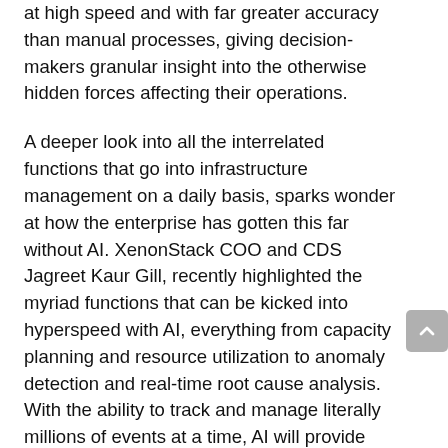at high speed and with far greater accuracy than manual processes, giving decision-makers granular insight into the otherwise hidden forces affecting their operations.
A deeper look into all the interrelated functions that go into infrastructure management on a daily basis, sparks wonder at how the enterprise has gotten this far without AI. XenonStack COO and CDS Jagreet Kaur Gill, recently highlighted the myriad functions that can be kicked into hyperspeed with AI, everything from capacity planning and resource utilization to anomaly detection and real-time root cause analysis. With the ability to track and manage literally millions of events at a time, AI will provide the foundation that allows the enterprise to maintain